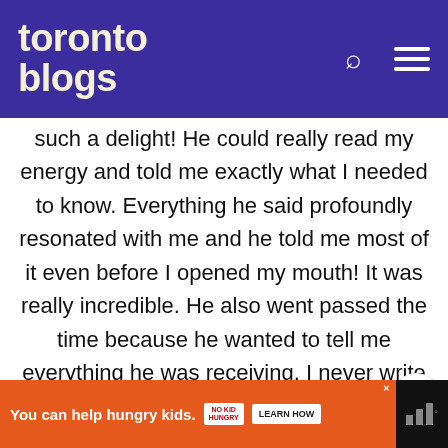toronto blogs
such a delight! He could really read my energy and told me exactly what I needed to know. Everything he said profoundly resonated with me and he told me most of it even before I opened my mouth! It was really incredible. He also went passed the time because he wanted to tell me everything he was receiving. I never write reviews but I couldn't not write one for him. Thank you Michael, you are so gifted! Many blessings!"
You can help hungry kids. NO KID HUNGRY LEARN HOW